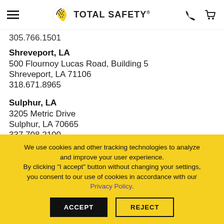Total Safety — navigation header with menu, logo, phone and cart icons
305.766.1501
Shreveport, LA
500 Flournoy Lucas Road, Building 5
Shreveport, LA 71106
318.671.8965
Sulphur, LA
3205 Metric Drive
Sulphur, LA 70665
337.708.2100
We use cookies and other tracking technologies to analyze and improve your user experience. By clicking "I accept" button without changing your settings, you consent to our use of cookies in accordance with our Privacy Policy.